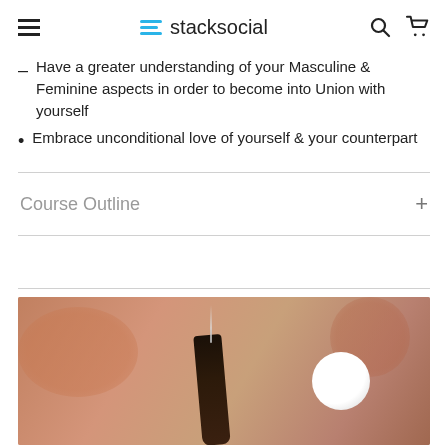stacksocial
Have a greater understanding of your Masculine & Feminine aspects in order to become into Union with yourself
Embrace unconditional love of yourself & your counterpart
Course Outline
[Figure (photo): A smudge stick with smoke rising, surrounded by crystals and stones on a warm-toned background]
VIEW SIMILAR ITEMS